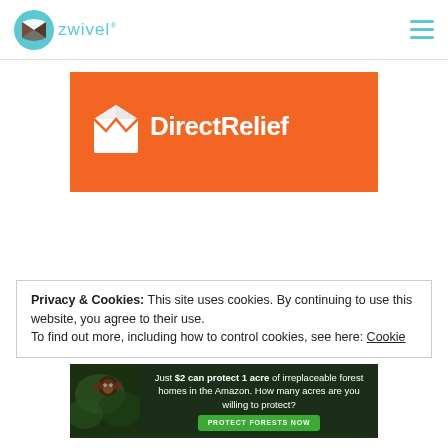zwivel (logo) | hamburger menu
[Figure (logo): Direct Relief logo on orange background — white box/envelope icon with DirectRelief text in white]
Privacy & Cookies: This site uses cookies. By continuing to use this website, you agree to their use.
To find out more, including how to control cookies, see here: Cookie
[Figure (infographic): Forest conservation advertisement — dark forest background with monkey image. Text: Just $2 can protect 1 acre of irreplaceable forest homes in the Amazon. How many acres are you willing to protect? Button: PROTECT FORESTS NOW]